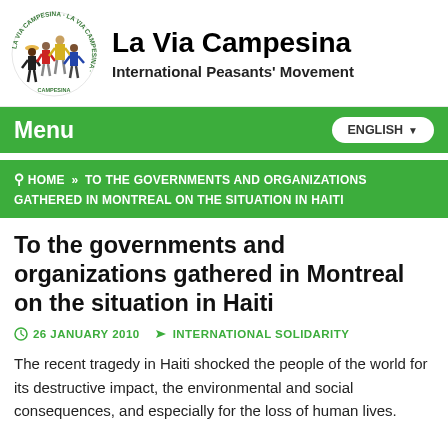[Figure (logo): La Via Campesina circular logo with illustrated peasant figures and organization name around the border]
La Via Campesina
International Peasants' Movement
Menu   ENGLISH
HOME » TO THE GOVERNMENTS AND ORGANIZATIONS GATHERED IN MONTREAL ON THE SITUATION IN HAITI
To the governments and organizations gathered in Montreal on the situation in Haiti
26 JANUARY 2010   INTERNATIONAL SOLIDARITY
The recent tragedy in Haiti shocked the people of the world for its destructive impact, the environmental and social consequences, and especially for the loss of human lives.